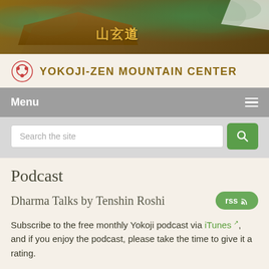[Figure (photo): Photograph of a Japanese-style building with wooden roof structure, snow visible, kanji characters on signage, surrounded by green trees]
YOKOJI-ZEN MOUNTAIN CENTER
Menu
Search the site
Podcast
Dharma Talks by Tenshin Roshi
Subscribe to the free monthly Yokoji podcast via iTunes, and if you enjoy the podcast, please take the time to give it a rating.